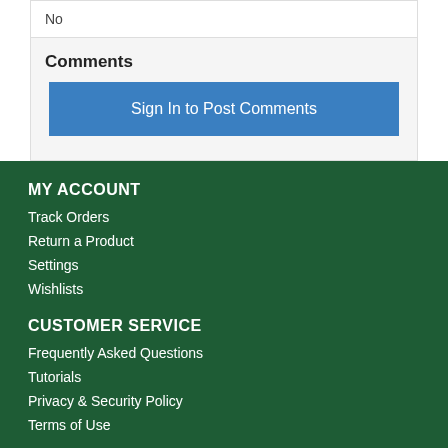No
Comments
Sign In to Post Comments
MY ACCOUNT
Track Orders
Return a Product
Settings
Wishlists
CUSTOMER SERVICE
Frequently Asked Questions
Tutorials
Privacy & Security Policy
Terms of Use
INFORMATION
Shipping